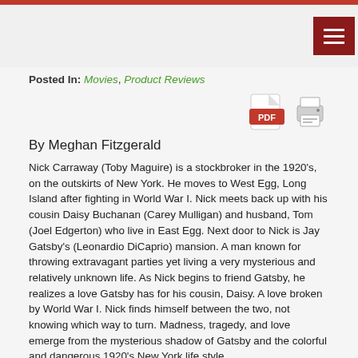Posted In: Movies, Product Reviews
By Meghan Fitzgerald
Nick Carraway (Toby Maguire) is a stockbroker in the 1920's, on the outskirts of New York. He moves to West Egg, Long Island after fighting in World War I. Nick meets back up with his cousin Daisy Buchanan (Carey Mulligan) and husband, Tom (Joel Edgerton) who live in East Egg. Next door to Nick is Jay Gatsby's (Leonardio DiCaprio) mansion. A man known for throwing extravagant parties yet living a very mysterious and relatively unknown life. As Nick begins to friend Gatsby, he realizes a love Gatsby has for his cousin, Daisy. A love broken by World War I. Nick finds himself between the two, not knowing which way to turn. Madness, tragedy, and love emerge from the mysterious shadow of Gatsby and the colorful and dangerous 1920's New York life style.
Should you see it: Leonardo DiCaprio. Titanic, Shutter Island, The Departed, J. Edgar, Django Unchained. This legendary man has seen his Hollywood days, and by the amount of awards on his shelves…he